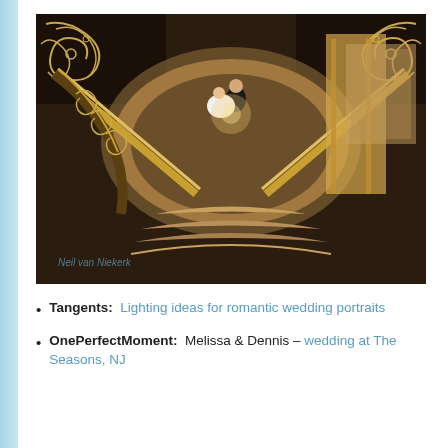[Figure (photo): A dramatic overhead/bird's-eye view wedding photo taken from above a grand staircase in an ornate venue. The image shows decorative wrought-iron railings with scrollwork in dark tones and gold, and the couple (bride in white dress, groom in tuxedo) visible from above in the center. The photo has a fisheye/wide-angle distortion effect. A watermark reading 'Neil van Niekerk' is visible in the lower left.]
Tangents:  Lighting ideas for romantic wedding portraits
OnePerfectMoment:  Melissa & Dennis – wedding at The Seasons, NJ